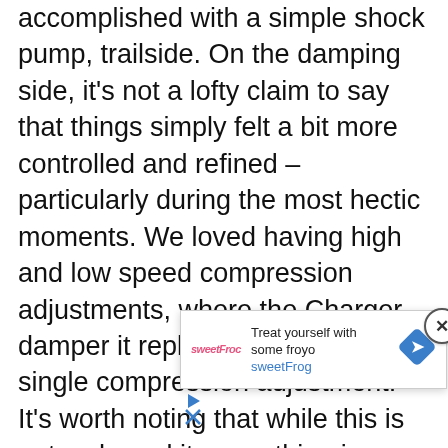accomplished with a simple shock pump, trailside. On the damping side, it's not a lofty claim to say that things simply felt a bit more controlled and refined – particularly during the most hectic moments. We loved having high and low speed compression adjustments, where the Charger damper it replaced just had a single compression adjustment. It's worth noting that while this is not a cheap kit, everything is made with the highest level of attention to detail. The deter[...] perce[...]hat both [...]r had prote[...]
[Figure (other): An advertisement overlay popup for sweetFrog frozen yogurt. Shows sweetFrog logo, tagline 'Treat yourself with some froyo', brand name 'sweetFrog' in blue, and a blue diamond navigation/map icon. Has a close (X) button in a circle in the top right corner.]